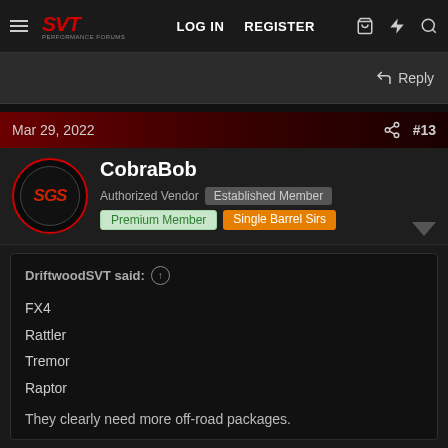SVT Performance Forums — LOG IN  REGISTER
Reply
Mar 29, 2022  #13
CobraBob
Authorized Vendor  Established Member
Premium Member  Single Barrel Sirs
DriftwoodSVT said:
FX4
Rattler
Tremor
Raptor

They clearly need more off-road packages.